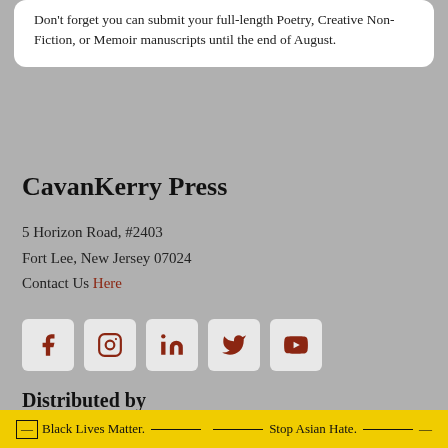Don't forget you can submit your full-length Poetry, Creative Non-Fiction, or Memoir manuscripts until the end of August.
CavanKerry Press
5 Horizon Road, #2403
Fort Lee, New Jersey 07024
Contact Us Here
[Figure (other): Social media icons: Facebook, Instagram, LinkedIn, Twitter, YouTube]
Distributed by
The University of Chicago Press
Black Lives Matter. — Stop Asian Hate. —